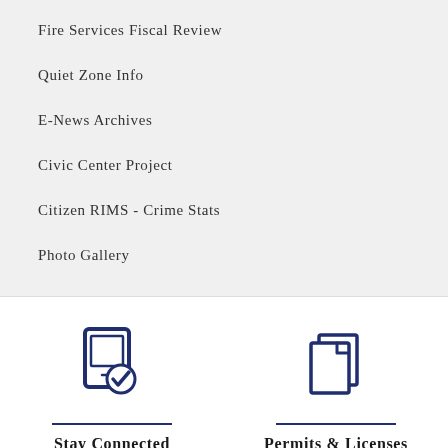Fire Services Fiscal Review
Quiet Zone Info
E-News Archives
Civic Center Project
Citizen RIMS - Crime Stats
Photo Gallery
[Figure (illustration): Icon of a tablet/device with a checkmark badge, representing Stay Connected]
Stay Connected
[Figure (illustration): Icon of two overlapping document pages, representing Permits & Licenses]
Permits & Licenses